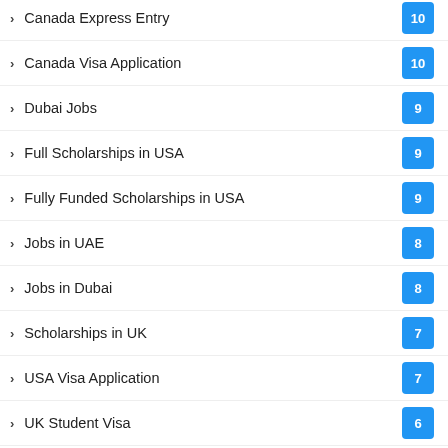Canada Express Entry — 10+
Canada Visa Application — 10
Dubai Jobs — 9
Full Scholarships in USA — 9
Fully Funded Scholarships in USA — 9
Jobs in UAE — 8
Jobs in Dubai — 8
Scholarships in UK — 7
USA Visa Application — 7
UK Student Visa — 6
Royal Scholarships in UK — 5
USA Visa Lottery — 5
Free Visa — ^
Australia Visa Application — 4
Work Visa in Canada — 4